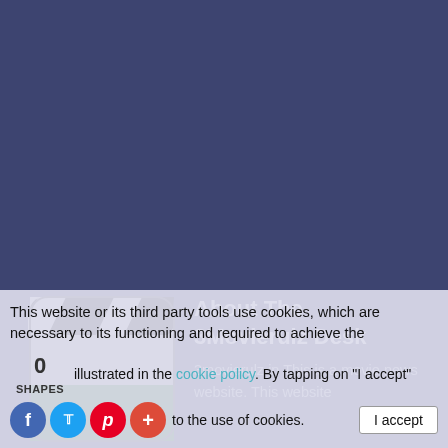[Figure (logo): Movie clapperboard icon with black and white striped top and green lower portion]
About The 3Movierulz Desk
3movierulz.in This is a movie news website. This website relates to the latest movie news, movie reviews, trailers update and TV news. After we chose the domain 3movierulz.in, we found out
This website or its third party tools use cookies, which are necessary to its functioning and required to achieve the illustrated in the cookie policy. By tapping on "I accept" to the use of cookies.